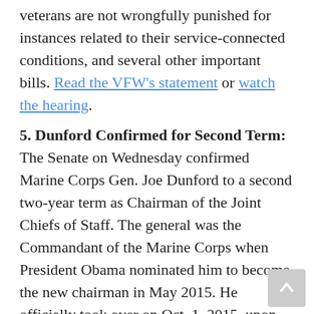veterans are not wrongfully punished for instances related to their service-connected conditions, and several other important bills. Read the VFW's statement or watch the hearing.
5. Dunford Confirmed for Second Term: The Senate on Wednesday confirmed Marine Corps Gen. Joe Dunford to a second two-year term as Chairman of the Joint Chiefs of Staff. The general was the Commandant of the Marine Corps when President Obama nominated him to become the new chairman in May 2015. He officially took over on Oct. 1, 2015, upon the retirement of his predecessor, Army Gen. Martin Dempsey. President Trump nominated him for a second term in May 2017. As chairman, he is the highest ranking officer in the U.S. military, and he serves as the principal military advisor to the president and his administration.